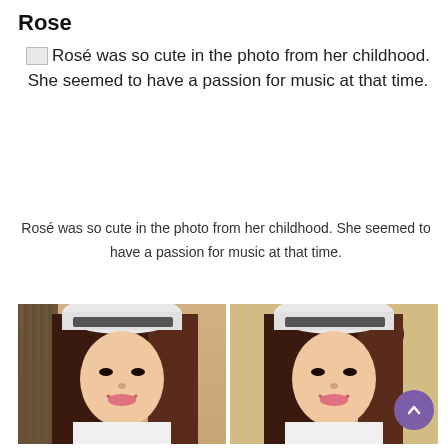Rose
Rosé was so cute in the photo from her childhood. She seemed to have a passion for music at that time.
Rosé was so cute in the photo from her childhood. She seemed to have a passion for music at that time.
[Figure (photo): Two side-by-side photos of a young woman (Rosé) wearing a backwards cap and smiling at the camera, with long dark hair.]